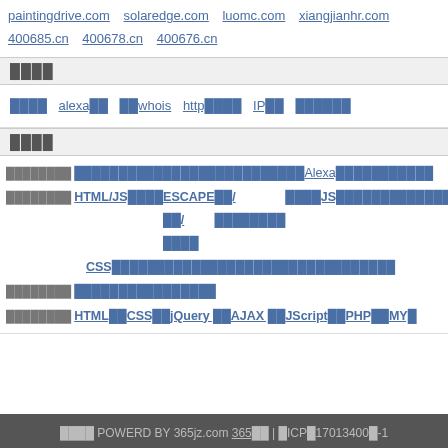paintingdrive.com  solaredge.com  luomc.com  xiangjianhr.com  400685.cn  400678.cn  400676.cn
████
████  alexa██  ██whois  http████  IP██  ██████
████
████████ ███████  █████████  ██████████  Alexa████  ███████  ████████ HTML/JS████  ESCAPE ██/████  ██/████████  ████JS████  ██████████  CSS██████  ██████  ██████  ██████  ████████  ████████ ███  ██████  ███████  ████████ HTML██  CSS██  jQuery ██  AJAX ██  JScript██  PHP██  MY█
████ POWERD BY 365jz.com 365██ | █ICP█17013400█-1